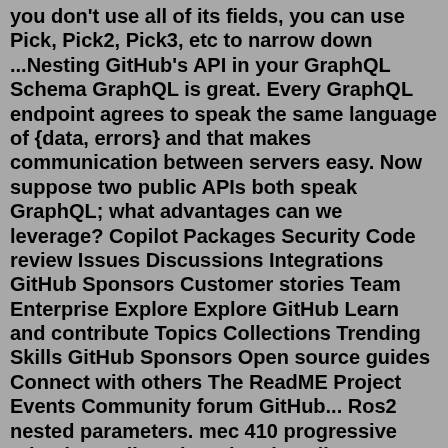you don't use all of its fields, you can use Pick, Pick2, Pick3, etc to narrow down ...Nesting GitHub's API in your GraphQL Schema GraphQL is great. Every GraphQL endpoint agrees to speak the same language of {data, errors} and that makes communication between servers easy. Now suppose two public APIs both speak GraphQL; what advantages can we leverage? Copilot Packages Security Code review Issues Discussions Integrations GitHub Sponsors Customer stories Team Enterprise Explore Explore GitHub Learn and contribute Topics Collections Trending Skills GitHub Sponsors Open source guides Connect with others The ReadME Project Events Community forum GitHub... Ros2 nested parameters. mec 410 progressive reloader. Online Shopping: install vnc server windows hackable switch reddit sound effects download free partition magic iso zillow northfield mn plumb gold racine harley clutch adjustment screw nissan 350z gta 5 mod. Ship to.PostCSS Nesting. PostCSS Nesting lets you nest